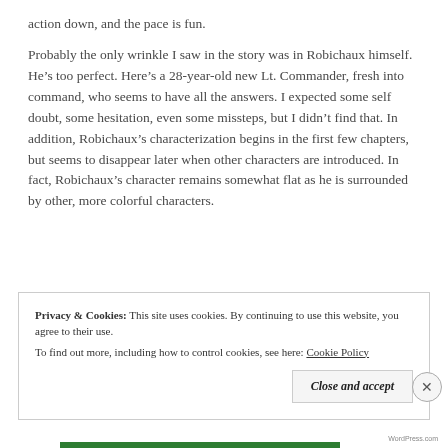action down, and the pace is fun.
Probably the only wrinkle I saw in the story was in Robichaux himself. He’s too perfect. Here’s a 28-year-old new Lt. Commander, fresh into command, who seems to have all the answers. I expected some self doubt, some hesitation, even some missteps, but I didn’t find that. In addition, Robichaux’s characterization begins in the first few chapters, but seems to disappear later when other characters are introduced. In fact, Robichaux’s character remains somewhat flat as he is surrounded by other, more colorful characters.
Privacy & Cookies: This site uses cookies. By continuing to use this website, you agree to their use.
To find out more, including how to control cookies, see here: Cookie Policy
Close and accept